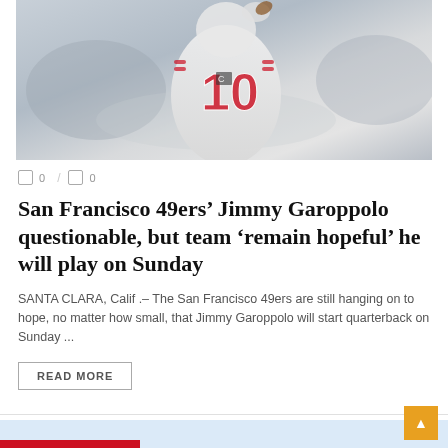[Figure (photo): San Francisco 49ers quarterback Jimmy Garoppolo (#10) in white uniform throwing a pass]
0 / 0
San Francisco 49ers’ Jimmy Garoppolo questionable, but team ‘remain hopeful’ he will play on Sunday
SANTA CLARA, Calif .– The San Francisco 49ers are still hanging on to hope, no matter how small, that Jimmy Garoppolo will start quarterback on Sunday ...
READ MORE